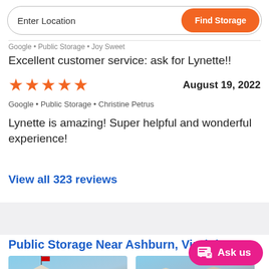Enter Location | Find Storage
Google • Public Storage • Joy Sweet
Excellent customer service: ask for Lynette!!
★★★★★   August 19, 2022
Google • Public Storage • Christine Petrus
Lynette is amazing! Super helpful and wonderful experience!
View all 323 reviews
Public Storage Near Ashburn, Virginia
[Figure (photo): Exterior photo of a Public Storage facility]
[Figure (photo): Exterior photo of another Public Storage facility]